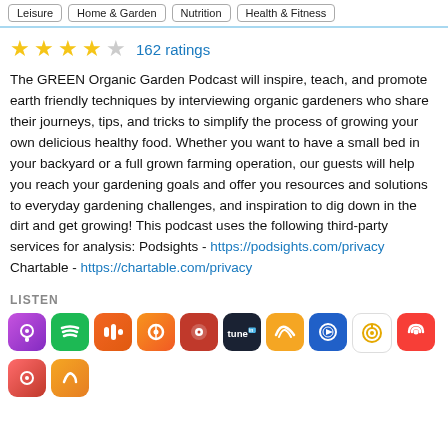Leisure | Home & Garden | Nutrition | Health & Fitness
★★★★☆ 162 ratings
The GREEN Organic Garden Podcast will inspire, teach, and promote earth friendly techniques by interviewing organic gardeners who share their journeys, tips, and tricks to simplify the process of growing your own delicious healthy food. Whether you want to have a small bed in your backyard or a full grown farming operation, our guests will help you reach your gardening goals and offer you resources and solutions to everyday gardening challenges, and inspiration to dig down in the dirt and get growing! This podcast uses the following third-party services for analysis: Podsights - https://podsights.com/privacy Chartable - https://chartable.com/privacy
LISTEN
[Figure (other): Row of podcast platform app icons: Apple Podcasts, Spotify, Castbox, Podcast Addict, Player FM, TuneIn, Audible, PlayerXtreme, Podbean, Pocket Casts, and two more partial icons]